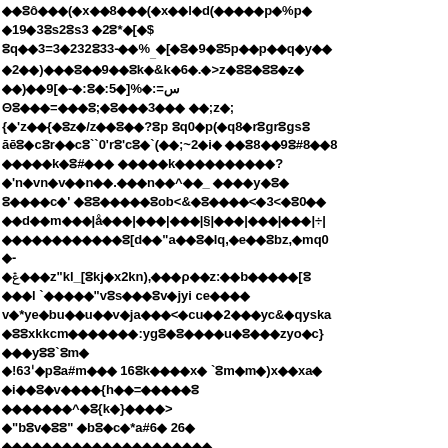Corrupted/encoded document page with diamond replacement characters and mixed symbols — unreadable encoded text content across multiple lines